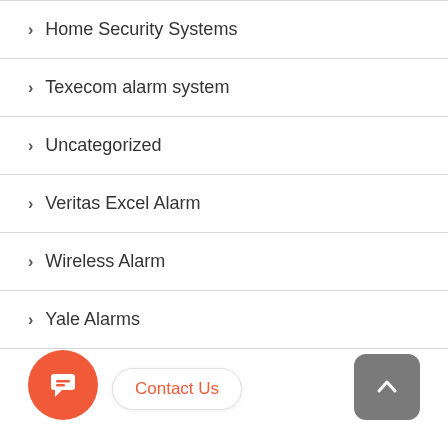> Home Security Systems
> Texecom alarm system
> Uncategorized
> Veritas Excel Alarm
> Wireless Alarm
> Yale Alarms
Contact Us